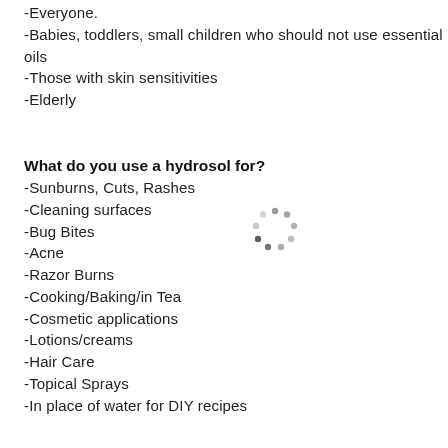-Everyone.
-Babies, toddlers, small children who should not use essential oils
-Those with skin sensitivities
-Elderly
What do you use a hydrosol for?
-Sunburns, Cuts, Rashes
-Cleaning surfaces
-Bug Bites
-Acne
-Razor Burns
-Cooking/Baking/in Tea
-Cosmetic applications
-Lotions/creams
-Hair Care
-Topical Sprays
-In place of water for DIY recipes